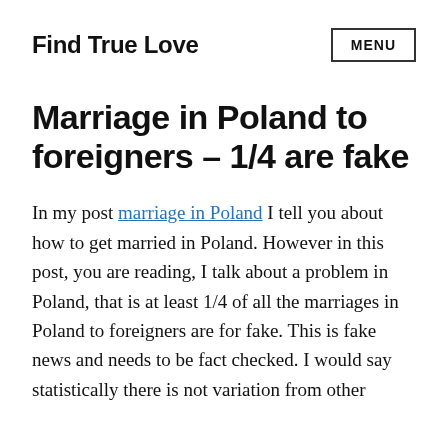Find True Love
Marriage in Poland to foreigners – 1/4 are fake
In my post marriage in Poland I tell you about how to get married in Poland. However in this post, you are reading, I talk about a problem in Poland, that is at least 1/4 of all the marriages in Poland to foreigners are for fake. This is fake news and needs to be fact checked. I would say statistically there is not variation from other